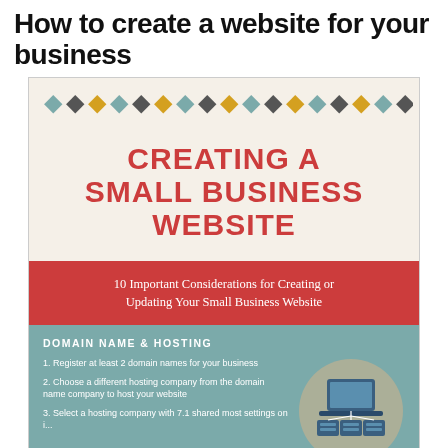How to create a website for your business
[Figure (infographic): Infographic titled 'Creating a Small Business Website' with diamond pattern header, cream section with red bold title, red section with subtitle '10 Important Considerations for Creating or Updating Your Small Business Website', and teal section with 'Domain Name & Hosting' listing three items and a server/computer illustration.]